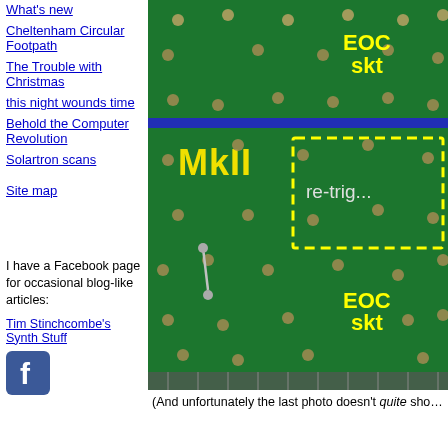What's new
Cheltenham Circular Footpath
The Trouble with Christmas
this night wounds time
Behold the Computer Revolution
Solartron scans
Site map
I have a Facebook page for occasional blog-like articles:
Tim Stinchcombe's Synth Stuff
[Figure (photo): Close-up photo of a green PCB (circuit board) with yellow text labels 'EOC skt' appearing twice (top and bottom), 'MkII' in large yellow letters on the left, and a yellow dashed rectangle highlighting a region labeled 're-trig...' A blue LED or light strip is visible near the top-middle of the board.]
(And unfortunately the last photo doesn't quite sho…